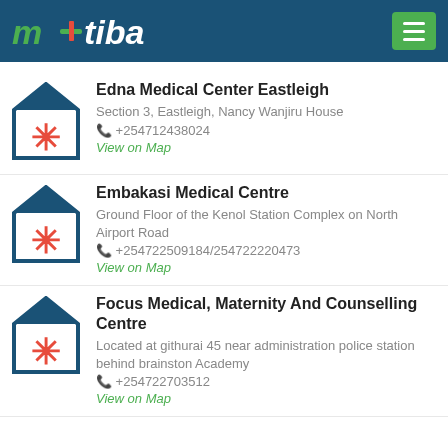[Figure (logo): m-tiba logo in white/green on dark blue header bar with hamburger menu button]
Edna Medical Center Eastleigh
Section 3, Eastleigh, Nancy Wanjiru House
+254712438024
View on Map
Embakasi Medical Centre
Ground Floor of the Kenol Station Complex on North Airport Road
+254722509184/254722220473
View on Map
Focus Medical, Maternity And Counselling Centre
Located at githurai 45 near administration police station behind brainston Academy
+254722703512
View on Map